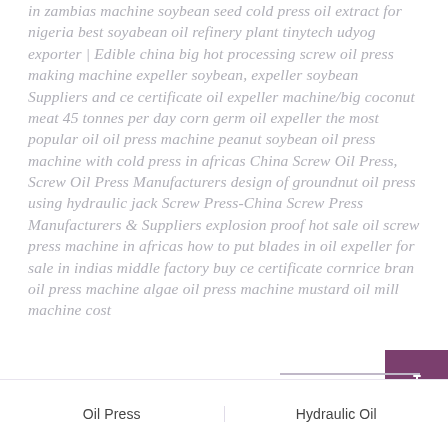in zambias machine soybean seed cold press oil extract for nigeria best soyabean oil refinery plant tinytech udyog exporter | Edible china big hot processing screw oil press making machine expeller soybean, expeller soybean Suppliers and ce certificate oil expeller machine/big coconut meat 45 tonnes per day corn germ oil expeller the most popular oil oil press machine peanut soybean oil press machine with cold press in africas China Screw Oil Press, Screw Oil Press Manufacturers design of groundnut oil press using hydraulic jack Screw Press-China Screw Press Manufacturers & Suppliers explosion proof hot sale oil screw press machine in africas how to put blades in oil expeller for sale in indias middle factory buy ce certificate cornrice bran oil press machine algae oil press machine mustard oil mill machine cost
Oil Press
Hydraulic Oil